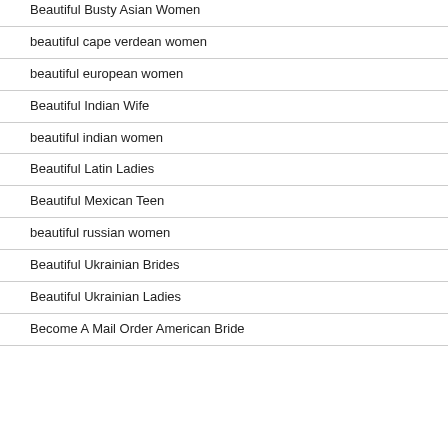Beautiful Busty Asian Women
beautiful cape verdean women
beautiful european women
Beautiful Indian Wife
beautiful indian women
Beautiful Latin Ladies
Beautiful Mexican Teen
beautiful russian women
Beautiful Ukrainian Brides
Beautiful Ukrainian Ladies
Become A Mail Order American Bride